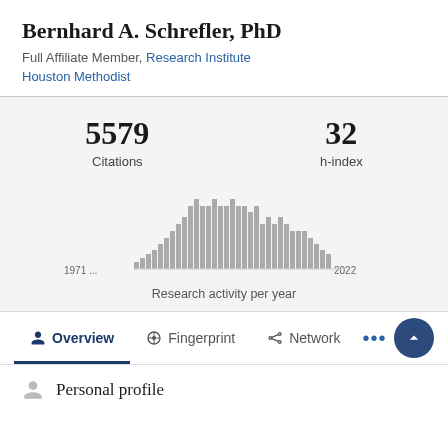Bernhard A. Schrefler, PhD
Full Affiliate Member, Research Institute Houston Methodist
5579 Citations
32 h-index
[Figure (histogram): Research activity per year]
Research activity per year
Overview  Fingerprint  Network  ...
Personal profile